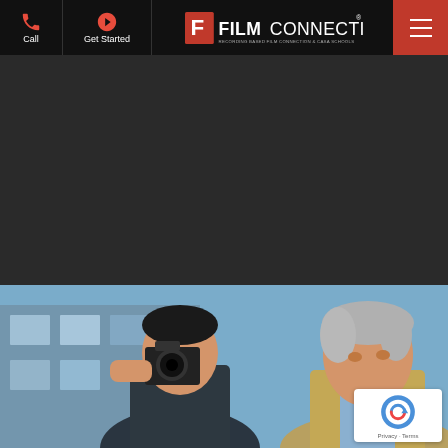Film Connection — Navigation bar with Call, Get Started, logo, and menu
[Figure (logo): CLIMB logo in white box — stylized geometric letters spelling CLIMB in dark navy/purple outline]
New! Finance your education with Climb. Get approved in minutes with no impact to your credit score.
[Figure (photo): Two people outdoors — a person holding a camera up to their face taking a photo, and an older grey-haired man in a suit looking on, with a modern building in the background]